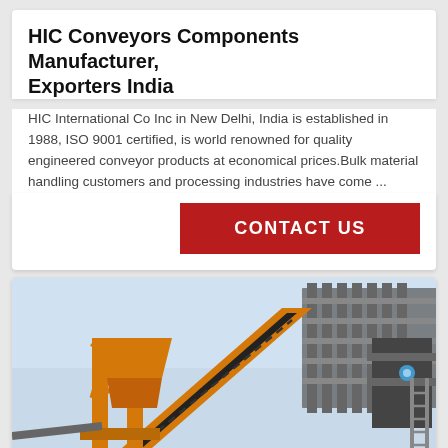HIC Conveyors Components Manufacturer, Exporters India
HIC International Co Inc in New Delhi, India is established in 1988, ISO 9001 certified, is world renowned for quality engineered conveyor products at economical prices.Bulk material handling customers and processing industries have come ...
[Figure (infographic): Red CONTACT US button with Live Chat speech bubble in cyan/blue]
[Figure (photo): Industrial conveyor system structure with yellow steel frame against light blue sky, large conveyor belt machinery and industrial equipment visible]